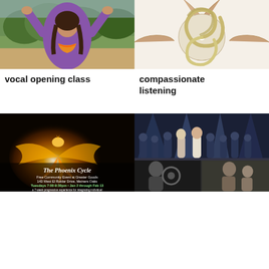[Figure (photo): Woman in purple shirt with arms raised outdoors]
[Figure (photo): Spiral shell/ring art object held by multiple hands]
vocal opening class
compassionate listening
[Figure (photo): Phoenix Cycle event poster with orange phoenix on dark background, text: The Phoenix Cycle, Free Community Event at Greater Goods, 143 West El Roblar Drive, Meiners Oaks, Tuesdays 7:00-9:30pm Jan 2 through Feb 13, a 7-week progressive experience for integrating individual and communal healing, culminating in the creation of an Initiation by City Mandala]
[Figure (photo): Band performing on stage with spotlights, multiple performers; below a black and white photo of musicians]